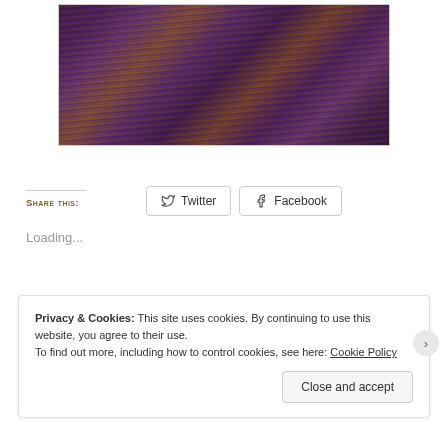[Figure (photo): Close-up photo of purple, brown, and gold knitted or woven textile/scarf with fringe at the edge, shown against a light background.]
Share this:
Twitter
Facebook
Loading...
Privacy & Cookies: This site uses cookies. By continuing to use this website, you agree to their use. To find out more, including how to control cookies, see here: Cookie Policy
Close and accept